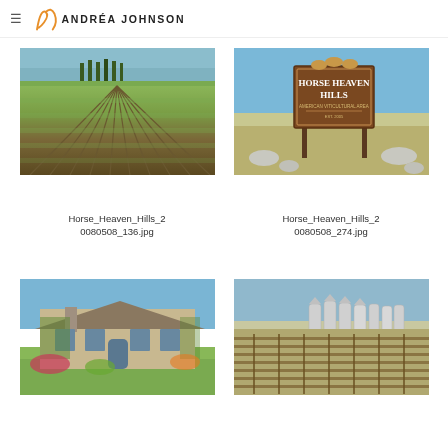≡  ANDRÉA JOHNSON
[Figure (photo): Aerial perspective of vineyard rows with water and trees in background, Horse Heaven Hills]
Horse_Heaven_Hills_2
0080508_136.jpg
[Figure (photo): Horse Heaven Hills American Viticultural Area sign with horse silhouettes on top, Est. 2005]
Horse_Heaven_Hills_2
0080508_274.jpg
[Figure (photo): Stone winery building with gardens and landscaping, blue sky]
[Figure (photo): Vineyard rows with large grain silos/tanks in background]